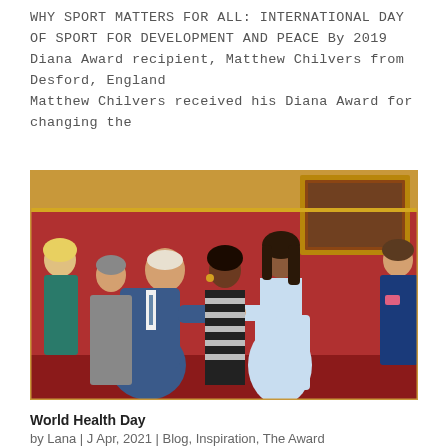WHY SPORT MATTERS FOR ALL: INTERNATIONAL DAY OF SPORT FOR DEVELOPMENT AND PEACE By 2019 Diana Award recipient, Matthew Chilvers from Desford, England Matthew Chilvers received his Diana Award for changing the
[Figure (photo): A formal reception scene in an ornate red and gold room. A man in a blue suit is shaking hands with a young woman in a light blue dress. Several other people stand in the background.]
World Health Day
by Lana | J Apr, 2021 | Blog, Inspiration, The Award